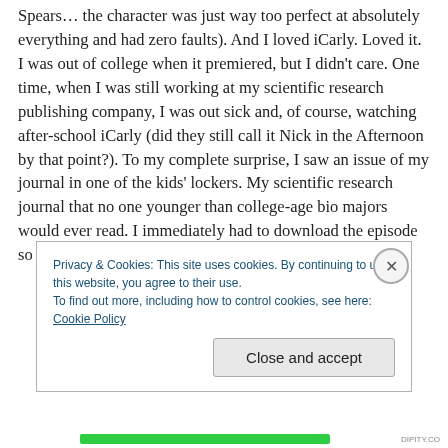Spears… the character was just way too perfect at absolutely everything and had zero faults). And I loved iCarly. Loved it. I was out of college when it premiered, but I didn't care. One time, when I was still working at my scientific research publishing company, I was out sick and, of course, watching after-school iCarly (did they still call it Nick in the Afternoon by that point?). To my complete surprise, I saw an issue of my journal in one of the kids' lockers. My scientific research journal that no one younger than college-age bio majors would ever read. I immediately had to download the episode so I could pause
Privacy & Cookies: This site uses cookies. By continuing to use this website, you agree to their use.
To find out more, including how to control cookies, see here: Cookie Policy
Close and accept
DIPITY.CO